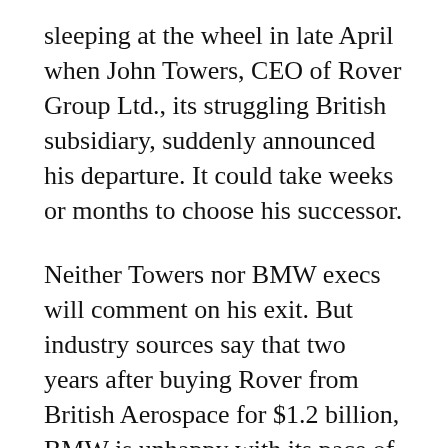sleeping at the wheel in late April when John Towers, CEO of Rover Group Ltd., its struggling British subsidiary, suddenly announced his departure. It could take weeks or months to choose his successor.
Neither Towers nor BMW execs will comment on his exit. But industry sources say that two years after buying Rover from British Aerospace for $1.2 billion, BMW is unhappy with its pace of change and wants to exert more control. Wolfgang Reitzle, BMW's research and development chief, who became Rover's chairman